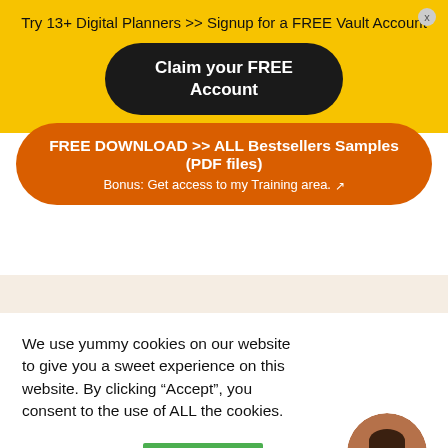Try 13+ Digital Planners >> Signup for a FREE Vault Account
Claim your FREE Account
FREE DOWNLOAD >> ALL Bestsellers Samples (PDF files)
Bonus: Get access to my Training area.
We use yummy cookies on our website to give you a sweet experience on this website. By clicking “Accept”, you consent to the use of ALL the cookies.
Cookie settings
ACCEPT